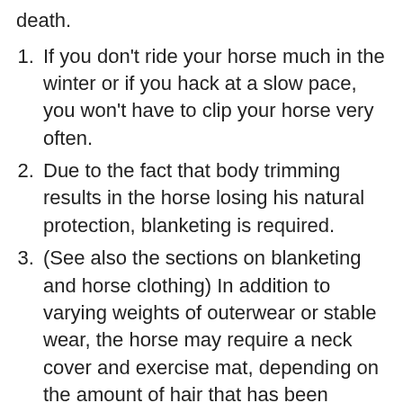death.
If you don't ride your horse much in the winter or if you hack at a slow pace, you won't have to clip your horse very often.
Due to the fact that body trimming results in the horse losing his natural protection, blanketing is required.
(See also the sections on blanketing and horse clothing) In addition to varying weights of outerwear or stable wear, the horse may require a neck cover and exercise mat, depending on the amount of hair that has been removed from his body.
This will help to keep your horse from being chilly while you are out working.
This is determined by the sort of labor you'll be